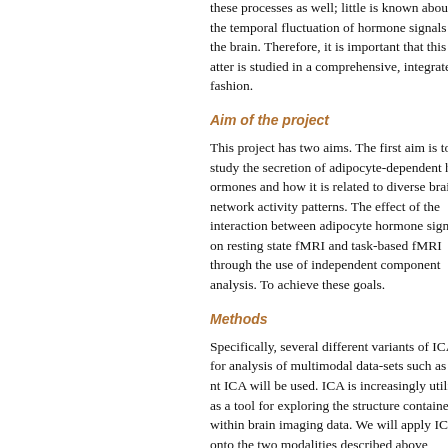these processes as well; little is known about the temporal fluctuation of hormone signals in the brain. Therefore, it is important that this matter is studied in a comprehensive, integrated fashion.
Aim of the project
This project has two aims. The first aim is to study the secretion of adipocyte-dependent hormones and how it is related to diverse brain network activity patterns. The effect of the interaction between adipocyte hormone signals on resting state fMRI and task-based fMRI through the use of independent component analysis. To achieve these goals.
Methods
Specifically, several different variants of ICA for analysis of multimodal data-sets such as joint ICA will be used. ICA is increasingly utilized as a tool for exploring the structure contained within brain imaging data. We will apply ICA onto the two modalities described above (resting state functional brain networks, hormone secretion data). Secondly, we will use the joint ICA to find how adipocyte-dependent and gut-dependent hormone secretion patterns can be analyzed to figure out if these different hormones relate to distinct brain networks.